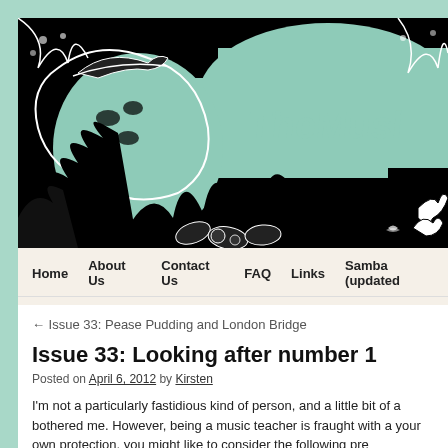[Figure (illustration): Banner image showing a jungle scene with a tiger/leopard on the left side in black and white with mint green background areas, tropical foliage, leaves and flowers. Text 'TheMusi' visible on right side in mint green handwritten style font. Black background overall.]
Home   About Us   Contact Us   FAQ   Links   Samba (updated
← Issue 33: Pease Pudding and London Bridge
Issue 33: Looking after number 1
Posted on April 6, 2012 by Kirsten
I'm not a particularly fastidious kind of person, and a little bit of a bothered me. However, being a music teacher is fraught with a your own protection, you might like to consider the following pre